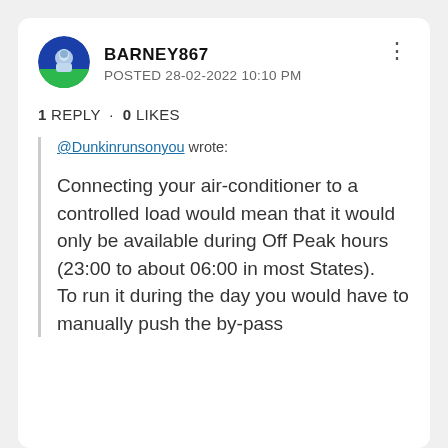[Figure (illustration): User avatar circle icon showing a small figure with blue background and green bottom]
BARNEY867
POSTED 28-02-2022 10:10 PM
1 REPLY · 0 LIKES
@Dunkinrunsonyou wrote:

Connecting your air-conditioner to a controlled load would mean that it would only be available during Off Peak hours (23:00 to about 06:00 in most States).
To run it during the day you would have to manually push the by-pass